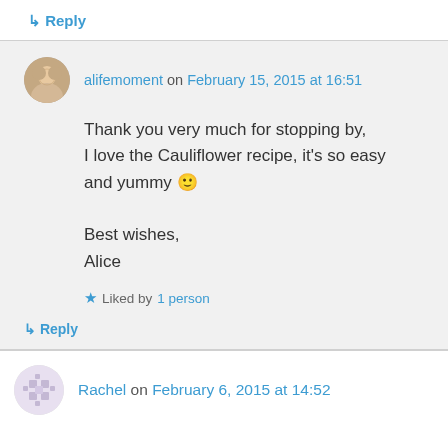↳ Reply
alifemoment on February 15, 2015 at 16:51
Thank you very much for stopping by, I love the Cauliflower recipe, it's so easy and yummy 🙂

Best wishes,
Alice
Liked by 1 person
↳ Reply
Rachel on February 6, 2015 at 14:52